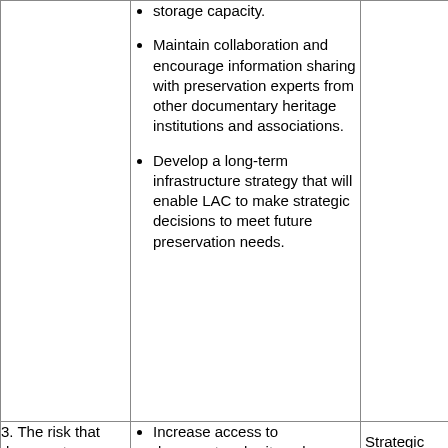storage capacity.
Maintain collaboration and encourage information sharing with preservation experts from other documentary heritage institutions and associations.
Develop a long-term infrastructure strategy that will enable LAC to make strategic decisions to meet future preservation needs.
3. The risk that documentary heritage is not
Increase access to documentary heritage by partnering with others to advance
Strategic outcome 2 Program 2